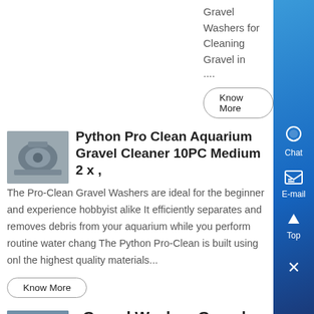Gravel Washers for Cleaning Gravel in ....
Know More
[Figure (photo): Industrial gravel washer machine, gray metallic equipment]
Python Pro Clean Aquarium Gravel Cleaner 10PC Medium 2 x ,
The Pro-Clean Gravel Washers are ideal for the beginner and experience hobbyist alike It efficiently separates and removes debris from your aquarium while you perform routine water chang The Python Pro-Clean is built using onl the highest quality materials...
Know More
[Figure (photo): Gravel washer industrial equipment with blue framework]
Gravel Washer, Gravel Washer Suppliers and...